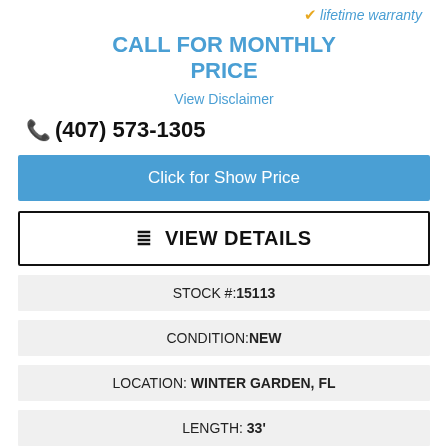✓ lifetime warranty
CALL FOR MONTHLY PRICE
View Disclaimer
(407) 573-1305
Click for Show Price
☰ VIEW DETAILS
STOCK #:15113
CONDITION:NEW
LOCATION: WINTER GARDEN, FL
LENGTH: 33'